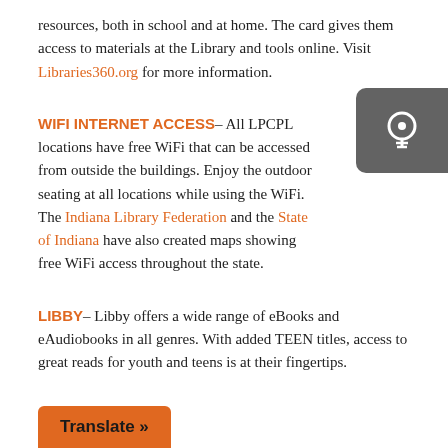resources, both in school and at home. The card gives them access to materials at the Library and tools online. Visit Libraries360.org for more information.
WIFI INTERNET ACCESS– All LPCPL locations have free WiFi that can be accessed from outside the buildings. Enjoy the outdoor seating at all locations while using the WiFi. The Indiana Library Federation and the State of Indiana have also created maps showing free WiFi access throughout the state.
[Figure (logo): Dark gray rounded rectangle icon with a white lightbulb/WiFi symbol]
LIBBY– Libby offers a wide range of eBooks and eAudiobooks in all genres. With added TEEN titles, access to great reads for youth and teens is at their fingertips.
Translate »